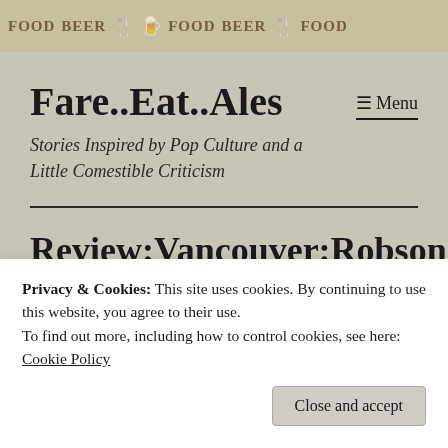[Figure (illustration): Decorative banner with FOOD and BEER text and food/drink icons in brown and orange on a tan background]
Fare..Eat..Ales
Stories Inspired by Pop Culture and a Little Comestible Criticism
Review:Vancouver:Robson St...
Privacy & Cookies: This site uses cookies. By continuing to use this website, you agree to their use.
To find out more, including how to control cookies, see here:
Cookie Policy
Close and accept